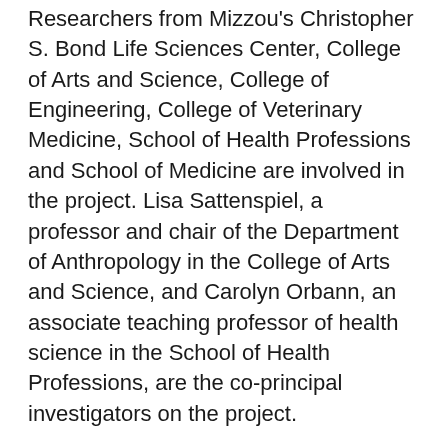Researchers from Mizzou's Christopher S. Bond Life Sciences Center, College of Arts and Science, College of Engineering, College of Veterinary Medicine, School of Health Professions and School of Medicine are involved in the project. Lisa Sattenspiel, a professor and chair of the Department of Anthropology in the College of Arts and Science, and Carolyn Orbann, an associate teaching professor of health science in the School of Health Professions, are the co-principal investigators on the project.
Sattenspiel is a biological anthropologist who has studied human infectious diseases for more than 40 years, including more than 25 years studying the 1918 flu pandemic. She said the team's interdisciplinary approach is important for developing a complete understanding of an infectious disease and how it spreads among human populations.